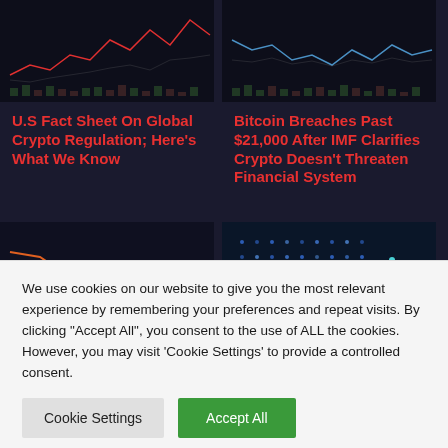[Figure (screenshot): Dark finance/crypto chart screenshot showing a line chart with red downtrend on dark background (top left)]
[Figure (screenshot): Dark finance/crypto chart screenshot showing a line chart on dark background (top right)]
U.S Fact Sheet On Global Crypto Regulation; Here's What We Know
Bitcoin Breaches Past $21,000 After IMF Clarifies Crypto Doesn't Threaten Financial System
[Figure (screenshot): Dark finance/crypto chart screenshot with orange/red line on dark background (bottom left)]
[Figure (screenshot): Blue digital/technology themed image with glowing dots pattern (bottom right)]
We use cookies on our website to give you the most relevant experience by remembering your preferences and repeat visits. By clicking "Accept All", you consent to the use of ALL the cookies. However, you may visit 'Cookie Settings' to provide a controlled consent.
Cookie Settings
Accept All